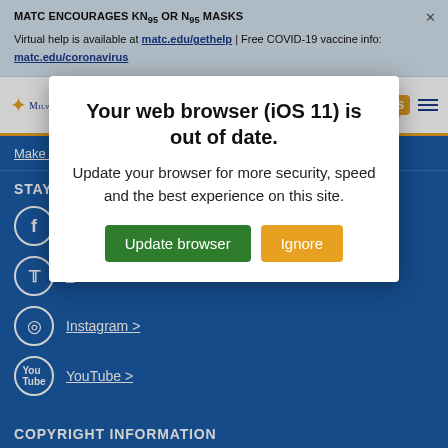MATC ENCOURAGES KN95 OR N95 MASKS
Virtual help is available at matc.edu/gethelp | Free COVID-19 vaccine info: matc.edu/coronavirus
[Figure (screenshot): Milwaukee Area Technical College navigation bar with logo, search icon, ES language button, and hamburger menu]
Make a
STAY C
Facebook >
Twitter >
Instagram >
YouTube >
COPYRIGHT INFORMATION
Your web browser (iOS 11) is out of date.
Update your browser for more security, speed and the best experience on this site.
Update browser  Ignore